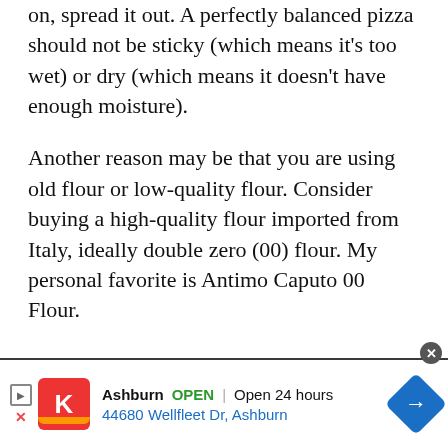on, spread it out. A perfectly balanced pizza should not be sticky (which means it's too wet) or dry (which means it doesn't have enough moisture).
Another reason may be that you are using old flour or low-quality flour. Consider buying a high-quality flour imported from Italy, ideally double zero (00) flour. My personal favorite is Antimo Caputo 00 Flour.
[Figure (other): Advertisement banner: Kroger store ad showing Ashburn location, OPEN, Open 24 hours, address 44680 Wellfleet Dr, Ashburn, with navigation arrow icon and close button.]